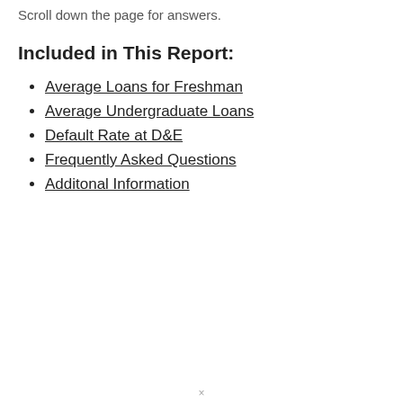Scroll down the page for answers.
Included in This Report:
Average Loans for Freshman
Average Undergraduate Loans
Default Rate at D&E
Frequently Asked Questions
Additonal Information